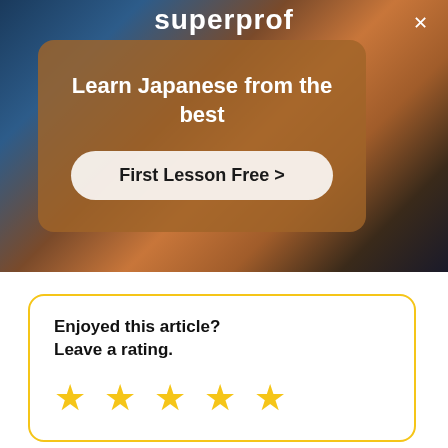[Figure (screenshot): Superprof website banner with dark photo background showing people playing music/learning. Overlay card reads 'Learn Japanese from the best' with a 'First Lesson Free >' button. A close (X) button is in the top right corner. Brand name 'superprof' visible at top center.]
Enjoyed this article?
Leave a rating.
[Figure (infographic): Five yellow star rating icons in a row inside a yellow-bordered rounded card.]